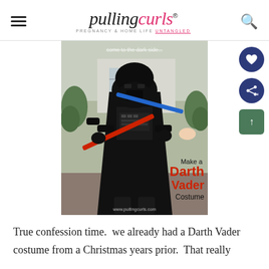pulling curls — PREGNANCY & HOME LIFE UNTANGLED
[Figure (photo): Person dressed in full Darth Vader costume (black helmet, black cape, black suit) holding lightsabers crossed — one red, one blue. Text overlay reads 'come to the dark side...' at top. Bottom right overlay: 'Make a Darth Vader Costume'. Watermark: www.pullingcurls.com]
True confession time.  we already had a Darth Vader costume from a Christmas years prior.  That really